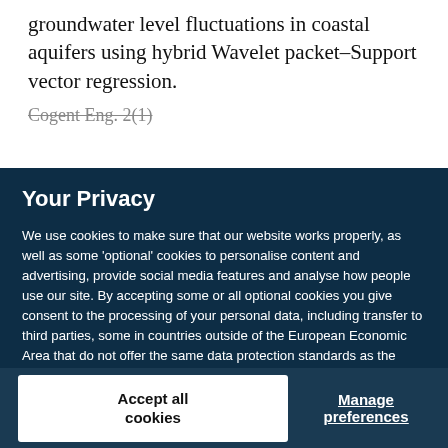groundwater level fluctuations in coastal aquifers using hybrid Wavelet packet–Support vector regression.
Cogent Eng. 2(1)
Your Privacy
We use cookies to make sure that our website works properly, as well as some 'optional' cookies to personalise content and advertising, provide social media features and analyse how people use our site. By accepting some or all optional cookies you give consent to the processing of your personal data, including transfer to third parties, some in countries outside of the European Economic Area that do not offer the same data protection standards as the country where you live. You can decide which optional cookies to accept by clicking on 'Manage Settings', where you can also find more information about how your personal data is processed. Further information can be found in our privacy policy.
Accept all cookies
Manage preferences